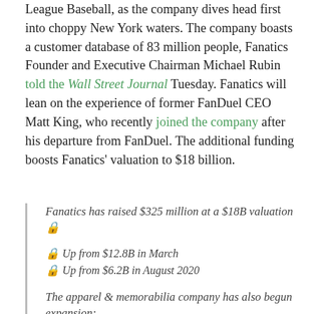League Baseball, as the company dives head first into choppy New York waters. The company boasts a customer database of 83 million people, Fanatics Founder and Executive Chairman Michael Rubin told the Wall Street Journal Tuesday. Fanatics will lean on the experience of former FanDuel CEO Matt King, who recently joined the company after his departure from FanDuel. The additional funding boosts Fanatics' valuation to $18 billion.
Fanatics has raised $325 million at a $18B valuation 🔒
🔒 Up from $12.8B in March
🔒 Up from $6.2B in August 2020
The apparel & memorabilia company has also begun expansion:
🔒 NFTs, Candy Digital
🔒 Ticketing